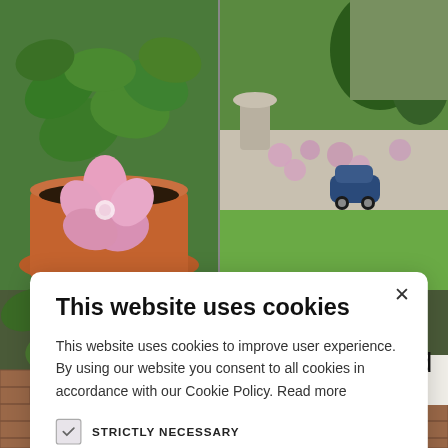[Figure (photo): Background showing two garden photos side by side at top: left photo shows a pink flower in a terracotta pot with green leaves, right photo shows a garden with small car ornament and pink ground flowers with stone border. Bottom shows partial garden and brick images.]
This website uses cookies
This website uses cookies to improve user experience. By using our website you consent to all cookies in accordance with our Cookie Policy. Read more
STRICTLY NECESSARY
ACCEPT ALL
DECLINE ALL
SHOW DETAILS